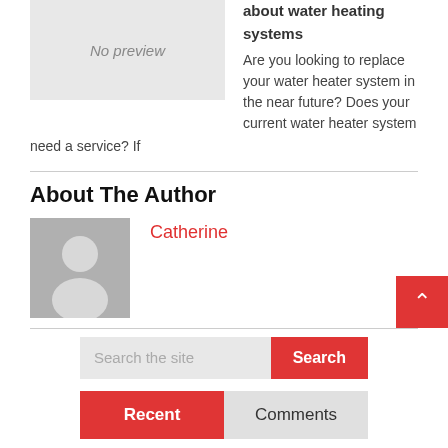[Figure (other): Gray placeholder box with 'No preview' text]
about water heating systems Are you looking to replace your water heater system in the near future? Does your current water heater system need a service? If
About The Author
[Figure (photo): Gray silhouette avatar placeholder image]
Catherine
Search the site
Recent
Comments